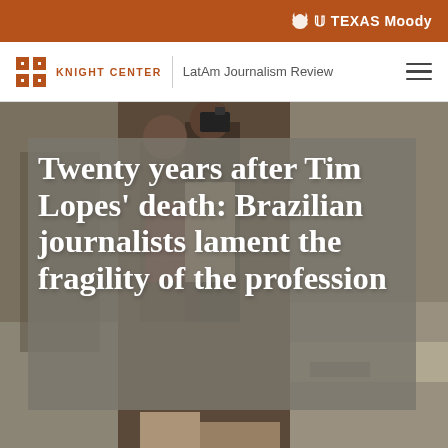TEXAS Moody
KNIGHT CENTER | LatAm Journalism Review
[Figure (photo): Photo of journalists at a scene, with a person holding a camera/phone. Background shows an outdoor scene with other journalists gathered. A large gray overlay panel with white bold text is placed over the image.]
Twenty years after Tim Lopes' death: Brazilian journalists lament the fragility of the profession